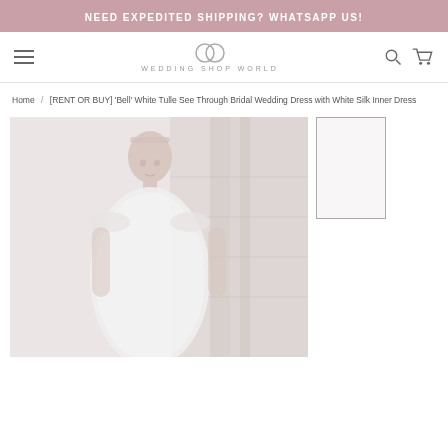NEED EXPEDITED SHIPPING? WHATSAPP US!
[Figure (logo): Wedding Shop World logo with two interlinked rings above the text WEDDING SHOP WORLD]
Home / [RENT OR BUY] 'Bell' White Tulle See Through Bridal Wedding Dress with White Silk Inner Dress
[Figure (photo): A model wearing a white tulle see-through bridal wedding dress, standing near a staircase with wooden paneling in a soft, light-tone environment]
[Figure (photo): Small thumbnail image placeholder of the bridal dress, shown as an outlined rectangle]